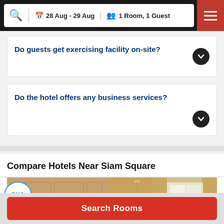28 Aug - 29 Aug  1 Room, 1 Guest
Do guests get exercising facility on-site?
Do the hotel offers any business services?
Compare Hotels Near Siam Square
[Figure (photo): Hotel room interior showing a luxurious room with warm wood paneling, pendant lighting, white curtains, and beds with golden tones. SHA certification badge visible in upper left.]
Search Rooms